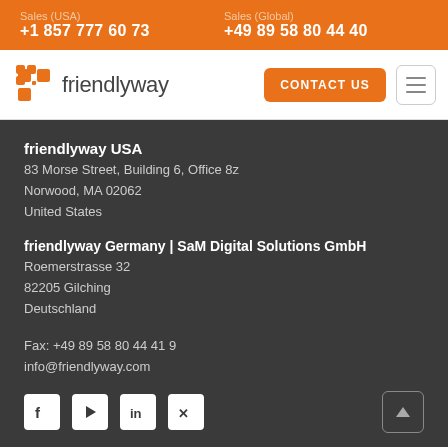Sales (USA) +1 857 777 60 73 | Sales (Global) +49 89 58 80 44 40
[Figure (logo): friendlyway logo with orange icon and CONTACT US button and hamburger menu]
friendlyway USA
83 Morse Street, Building 6, Office 8z
Norwood, MA 02062
United States
friendlyway Germany | SaM Digital Solutions GmbH
Roemerstrasse 32
82205 Gilching
Deutschland
Fax: +49 89 58 80 44 41 9
info@friendlyway.com
[Figure (illustration): Social media icons: Facebook, YouTube, LinkedIn, Xing; and scroll-to-top button]